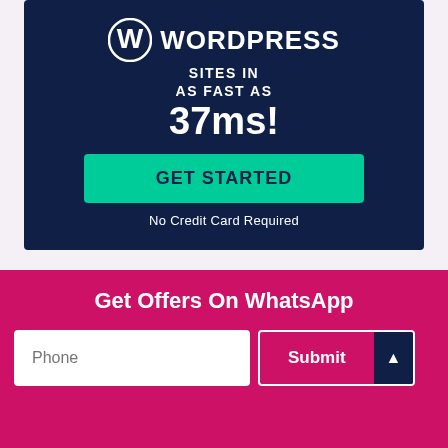[Figure (screenshot): WordPress hosting advertisement banner with dark navy background showing WordPress logo, text 'WORDPRESS SITES IN AS FAST AS 37ms!', green GET STARTED button, and 'No Credit Card Required' text]
Get Offers On WhatsApp
Phone
Submit